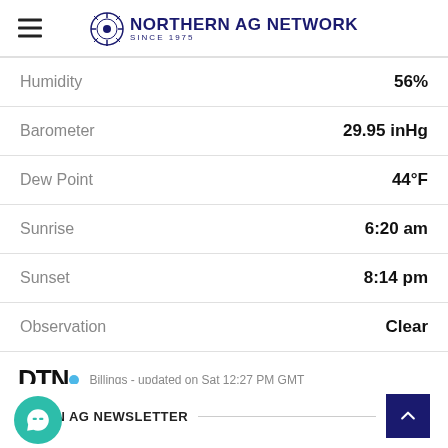Northern AG Network Since 1975
| Label | Value |
| --- | --- |
| Humidity | 56% |
| Barometer | 29.95 inHg |
| Dew Point | 44°F |
| Sunrise | 6:20 am |
| Sunset | 8:14 pm |
| Observation | Clear |
DTN Billings - updated on Sat 12:27 PM GMT
THERN AG NEWSLETTER